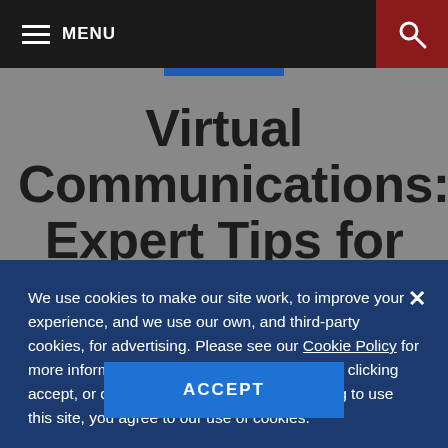MENU
Virtual Communications: Expert Tips for Open Enrollment
We use cookies to make our site work, to improve your experience, and we use our own, and third-party cookies, for advertising. Please see our Cookie Policy for more information and how to disable them. By clicking accept, or closing the message and continuing to use this site, you agree to our use of cookies.
ACCEPT